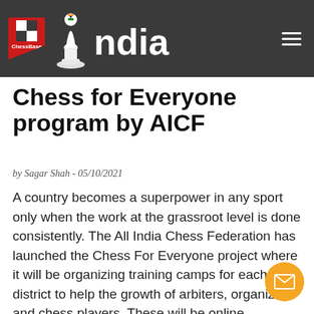ChessBase India
Chess for Everyone program by AICF
by Sagar Shah - 05/10/2021
A country becomes a superpower in any sport only when the work at the grassroot level is done consistently. The All India Chess Federation has launched the Chess For Everyone project where it will be organizing training camps for each district to help the growth of arbiters, organizers and chess players. These will be online programs that begin from November. But if you are interested